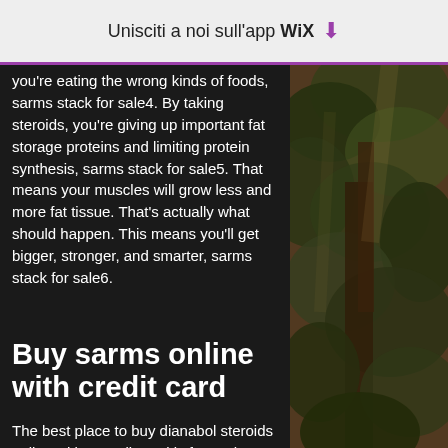Unisciti a noi sull'app WiX ⬇
you're eating the wrong kinds of foods, sarms stack for sale4. By taking steroids, you're giving up important fat storage proteins and limiting protein synthesis, sarms stack for sale5. That means your muscles will grow less and more fat tissue. That's actually what should happen. This means you'll get bigger, stronger, and smarter, sarms stack for sale6.
Buy sarms online with credit card
The best place to buy dianabol steroids online with a credit card is from who stock D-BALand it can be shipped to anywhere. We have it shipped worldwide using UPS, FedEx, DHL, UPS, USPS, Fedex or USPS
[Figure (photo): Dark nature/jungle photo with foliage and tree textures on the right side of the page]